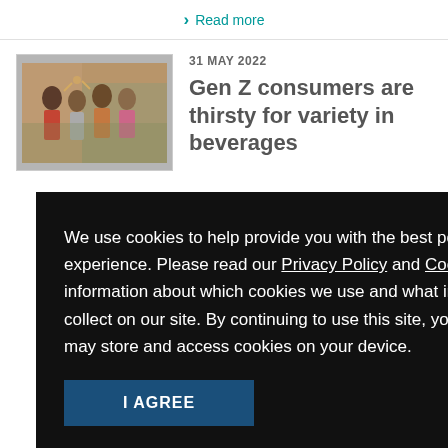❯ Read more
[Figure (photo): Group of young people toasting with drinks outdoors]
31 MAY 2022
Gen Z consumers are thirsty for variety in beverages
We use cookies to help provide you with the best possible online experience. Please read our Privacy Policy and Cookie Policy for information about which cookies we use and what information we collect on our site. By continuing to use this site, you agree that we may store and access cookies on your device.
I AGREE